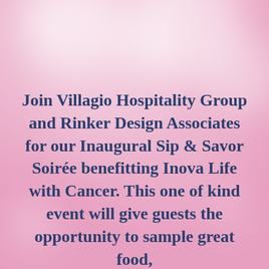[Figure (illustration): Pink bokeh background with soft white circular light spots]
Join Villagio Hospitality Group and Rinker Design Associates for our Inaugural Sip & Savor Soirée benefitting Inova Life with Cancer. This one of kind event will give guests the opportunity to sample great food,